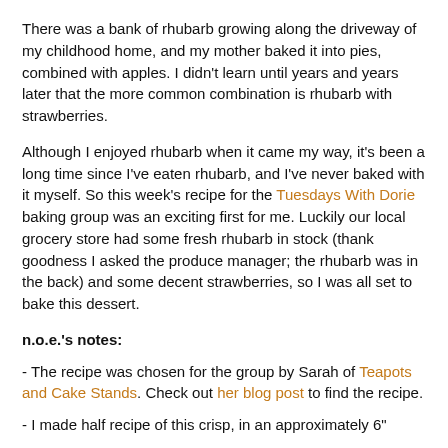There was a bank of rhubarb growing along the driveway of my childhood home, and my mother baked it into pies, combined with apples. I didn't learn until years and years later that the more common combination is rhubarb with strawberries.
Although I enjoyed rhubarb when it came my way, it's been a long time since I've eaten rhubarb, and I've never baked with it myself. So this week's recipe for the Tuesdays With Dorie baking group was an exciting first for me. Luckily our local grocery store had some fresh rhubarb in stock (thank goodness I asked the produce manager; the rhubarb was in the back) and some decent strawberries, so I was all set to bake this dessert.
n.o.e.'s notes:
- The recipe was chosen for the group by Sarah of Teapots and Cake Stands. Check out her blog post to find the recipe.
- I made half recipe of this crisp, in an approximately 6"